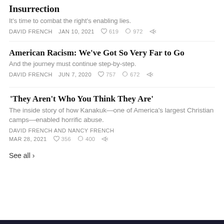Insurrection
It's time to combat the right's enabling lies.
DAVID FRENCH   JAN 10, 2021   619   972
American Racism: We've Got So Very Far to Go
And the journey must continue step-by-step.
DAVID FRENCH   JUN 7, 2020   757   672
'They Aren't Who You Think They Are'
The inside story of how Kanakuk—one of America's largest Christian camps—enabled horrific abuse.
DAVID FRENCH AND NANCY FRENCH
MAR 28, 2021   356   400
See all ›